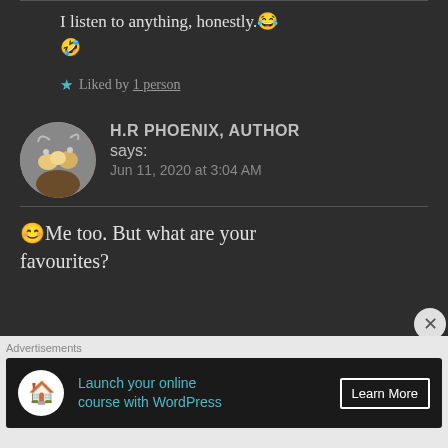I listen to anything, honestly. 😂 🤣
★ Liked by 1 person
H.R PHOENIX, AUTHOR says:
Jun 11, 2020 at 3:04 AM
😊Me too. But what are your favourites?
Advertisements
Launch your online course with WordPress  Learn More